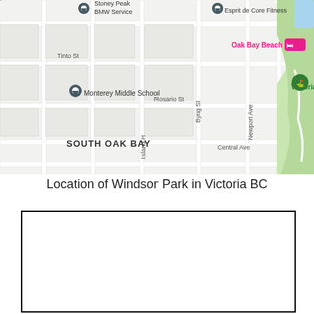[Figure (map): Google Maps screenshot showing South Oak Bay area in Victoria BC. Visible landmarks include Stoney Peak BMW Service, Esprit de Core Fitness, Oak Bay Beach (hotel marker in pink), Tinto St, Monterey Middle School, Rosario St, Byng St, Victoria Golf Club, Island Hwy, Central Ave, Newport Ave. The neighborhood label SOUTH OAK BAY is shown in bold. Green area represents Victoria Golf Club grounds on the right side.]
Location of Windsor Park in Victoria BC
[Figure (other): Empty white rectangle with black border, possibly a placeholder for a second map or image.]